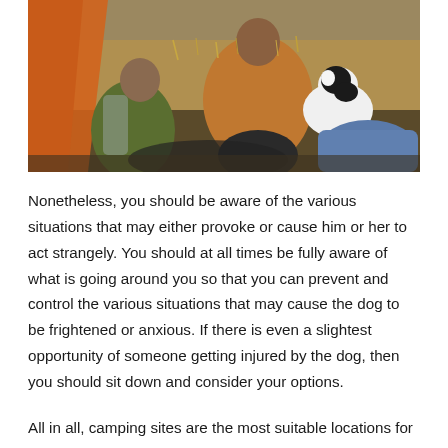[Figure (photo): Two people and a black and white dog sitting on sleeping bags near an orange tent in a grassy field. One person wears a green jacket, the other an orange/brown jacket holding the dog.]
Nonetheless, you should be aware of the various situations that may either provoke or cause him or her to act strangely. You should at all times be fully aware of what is going around you so that you can prevent and control the various situations that may cause the dog to be frightened or anxious. If there is even a slightest opportunity of someone getting injured by the dog, then you should sit down and consider your options.
All in all, camping sites are the most suitable locations for